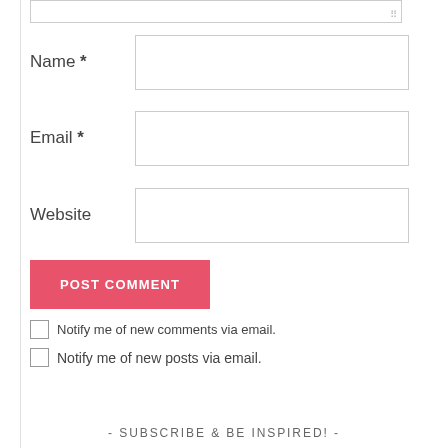[Figure (screenshot): Comment form section with textarea (top, clipped), Name field, Email field, Website field, POST COMMENT button, and two checkbox notification options]
Name *
Email *
Website
POST COMMENT
Notify me of new comments via email.
Notify me of new posts via email.
- SUBSCRIBE & BE INSPIRED! -